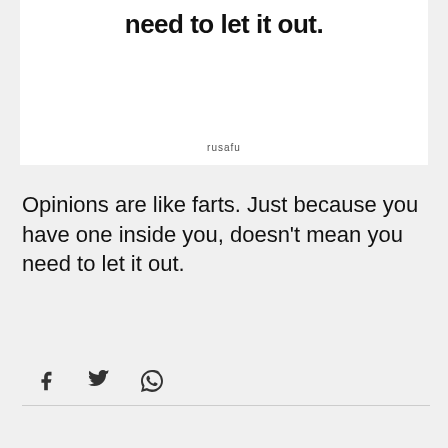need to let it out.
rusafu
Opinions are like farts. Just because you have one inside you, doesn't mean you need to let it out.
[Figure (infographic): Social share icons: Facebook, Twitter, WhatsApp]